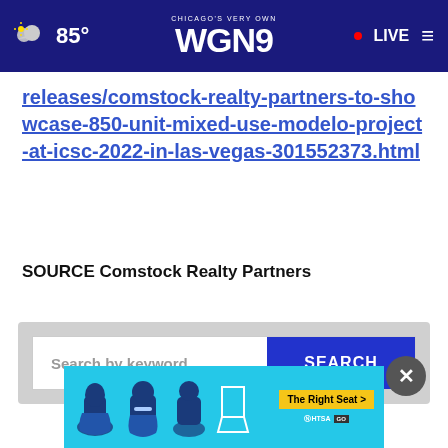WGN9 Chicago's Very Own — 85° LIVE
releases/comstock-realty-partners-to-showcase-850-unit-mixed-use-modelo-project-at-icsc-2022-in-las-vegas-301552373.html
SOURCE Comstock Realty Partners
Search by keyword SEARCH
[Figure (other): NHTSA The Right Seat advertisement banner with car seat safety icons]